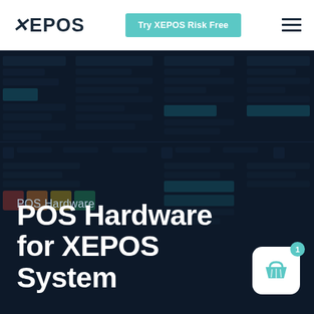XEPOS | Try XEPOS Risk Free
[Figure (screenshot): Dark navy background showing a blurred/dimmed POS software interface with multiple panels, rows of data, and colored buttons visible as a background hero image]
POS Hardware
POS Hardware for XEPOS System